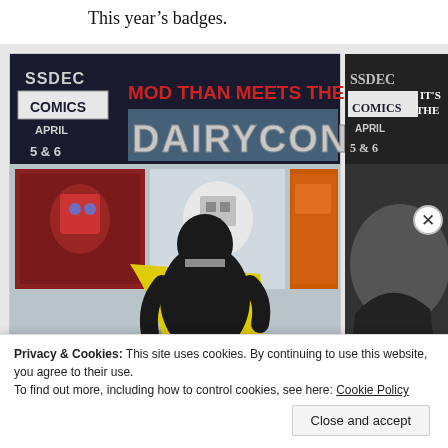This year's badges.
[Figure (illustration): Comic book style badge artwork. Left image: SSDEC COMICS APRIL 5 & 6 badge titled 'MOD THAN MEETS THE EYE DAIRYCON' showing a character in black and yellow cape/outfit in front of Transformer-style robots. Right image (partially visible): Another SSDEC COMICS APRIL 5 & 6 badge, partialy cropped, with 'IT'S THE' text visible and a dark action scene.]
Privacy & Cookies: This site uses cookies. By continuing to use this website, you agree to their use.
To find out more, including how to control cookies, see here: Cookie Policy
Close and accept